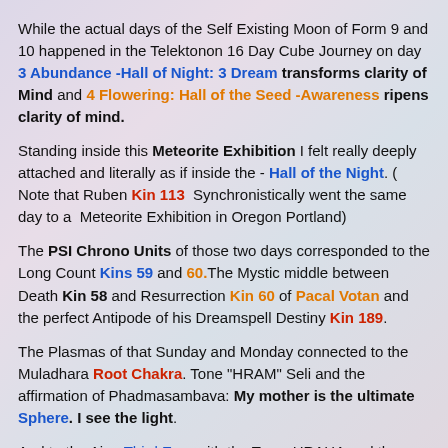While the actual days of the Self Existing Moon of Form 9 and 10 happened in the Telektonon 16 Day Cube Journey on day 3 Abundance -Hall of Night: 3 Dream transforms clarity of Mind and 4 Flowering: Hall of the Seed -Awareness ripens clarity of mind.
Standing inside this Meteorite Exhibition I felt really deeply attached and literally as if inside the - Hall of the Night. ( Note that Ruben Kin 113 Synchronistically went the same day to a Meteorite Exhibition in Oregon Portland)
The PSI Chrono Units of those two days corresponded to the Long Count Kins 59 and 60.The Mystic middle between Death Kin 58 and Resurrection Kin 60 of Pacal Votan and the perfect Antipode of his Dreamspell Destiny Kin 189.
The Plasmas of that Sunday and Monday connected to the Muladhara Root Chakra. Tone "HRAM" Seli and the affirmation of Phadmasambava: My mother is the ultimate Sphere. I see the light.
And to the Ajna Third Eye, with the Tone: HRAHA and the affirmation: My lineage is the union of intrinsic awareness and